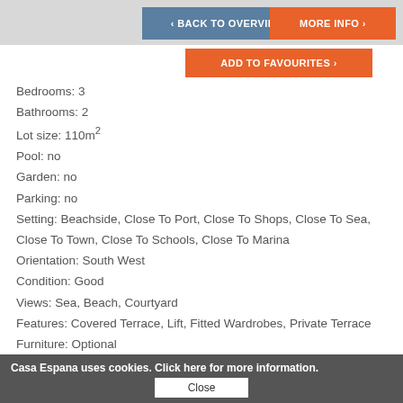< BACK TO OVERVIEW    MORE INFO >
ADD TO FAVOURITES >
Bedrooms: 3
Bathrooms: 2
Lot size: 110m²
Pool: no
Garden: no
Parking: no
Setting: Beachside, Close To Port, Close To Shops, Close To Sea, Close To Town, Close To Schools, Close To Marina
Orientation: South West
Condition: Good
Views: Sea, Beach, Courtyard
Features: Covered Terrace, Lift, Fitted Wardrobes, Private Terrace
Furniture: Optional
Kitchen: Fully Fitted
Security: Entry Phone
Utilities: Electricity, Drinkable Water
Category: Resale
Casa Espana uses cookies. Click here for more information.
Close